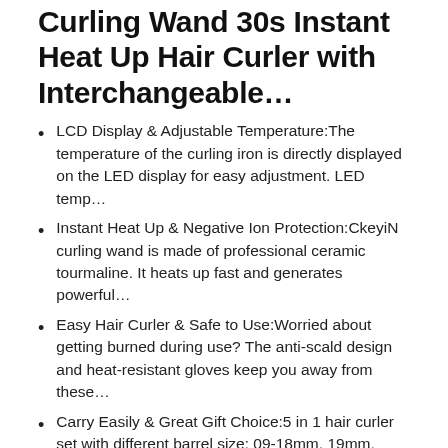Curling Wand 30s Instant Heat Up Hair Curler with Interchangeable…
LCD Display & Adjustable Temperature:The temperature of the curling iron is directly displayed on the LED display for easy adjustment. LED temp…
Instant Heat Up & Negative Ion Protection:CkeyiN curling wand is made of professional ceramic tourmaline. It heats up fast and generates powerful…
Easy Hair Curler & Safe to Use:Worried about getting burned during use? The anti-scald design and heat-resistant gloves keep you away from these…
Carry Easily & Great Gift Choice:5 in 1 hair curler set with different barrel size: 09-18mm, 19mm, 25mm, 32mm, 25mm bead.The barrel with locking and…